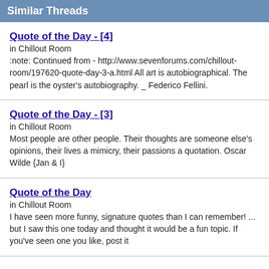Similar Threads
Quote of the Day - [4]
in Chillout Room
:note: Continued from - http://www.sevenforums.com/chillout-room/197620-quote-day-3-a.html All art is autobiographical. The pearl is the oyster's autobiography. _ Federico Fellini.
Quote of the Day - [3]
in Chillout Room
Most people are other people. Their thoughts are someone else's opinions, their lives a mimicry, their passions a quotation. Oscar Wilde {Jan & I}
Quote of the Day
in Chillout Room
I have seen more funny, signature quotes than I can remember! ... but I saw this one today and thought it would be a fun topic. If you've seen one you like, post it